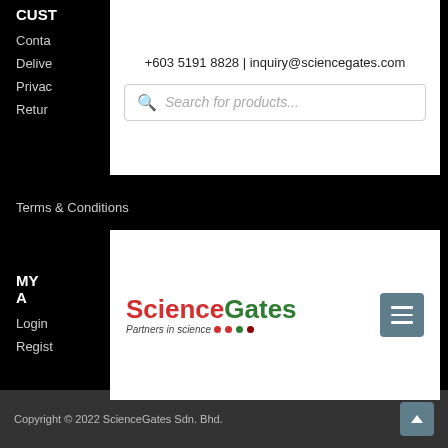CUSTOMER SERVICE
Contact Us
Delivery
Privacy
Returns
Terms & Conditions
+603 5191 8828 | inquiry@sciencegates.com
Search for products...
MY ACCOUNT
Login
Register
[Figure (logo): ScienceGates logo with tagline 'Partners in science' and dots in red, red, green, and dark red, alongside a hamburger menu button]
Copyright © 2022 ScienceGates Sdn. Bhd.